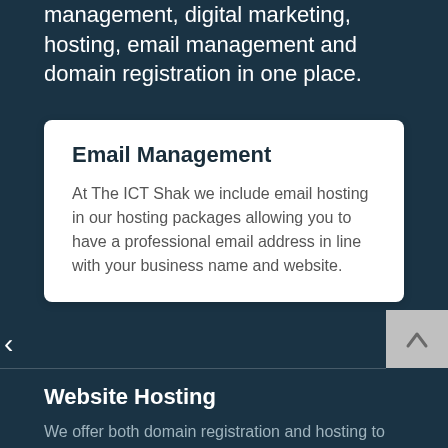management, digital marketing, hosting, email management and domain registration in one place.
Email Management
At The ICT Shak we include email hosting in our hosting packages allowing you to have a professional email address in line with your business name and website.
Website Hosting
We offer both domain registration and hosting to our clients, with personalised service and support available. Our hosting environment is located in Australia, giving you an Australian based IP address. Our servers are located in a 100% eco friendly datacentre in Sydney. We are proud of our